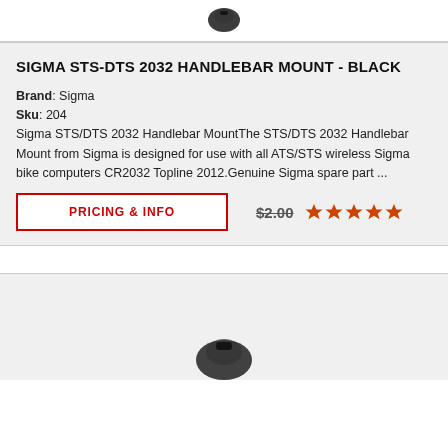[Figure (photo): Partial product image (bicycle computer mount) at top of page, cropped]
SIGMA STS-DTS 2032 HANDLEBAR MOUNT - BLACK
Brand: Sigma
Sku: 204
Sigma STS/DTS 2032 Handlebar MountThe STS/DTS 2032 Handlebar Mount from Sigma is designed for use with all ATS/STS wireless Sigma bike computers CR2032 Topline 2012.Genuine Sigma spare part ...
PRICING & INFO
$2.00
[Figure (other): Star rating: 4 out of 5 stars in orange]
[Figure (photo): Bottom product image, partially visible, cropped at bottom of page]